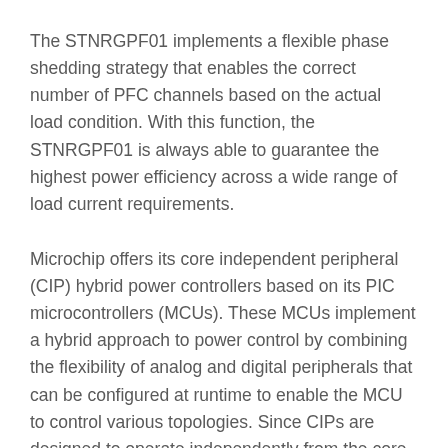The STNRGPF01 implements a flexible phase shedding strategy that enables the correct number of PFC channels based on the actual load condition. With this function, the STNRGPF01 is always able to guarantee the highest power efficiency across a wide range of load current requirements.
Microchip offers its core independent peripheral (CIP) hybrid power controllers based on its PIC microcontrollers (MCUs). These MCUs implement a hybrid approach to power control by combining the flexibility of analog and digital peripherals that can be configured at runtime to enable the MCU to control various topologies. Since CIPs are designed to operate independently from the core, they free up the Central Processing Unit (CPU) to perform communication and coordination tasks. A single